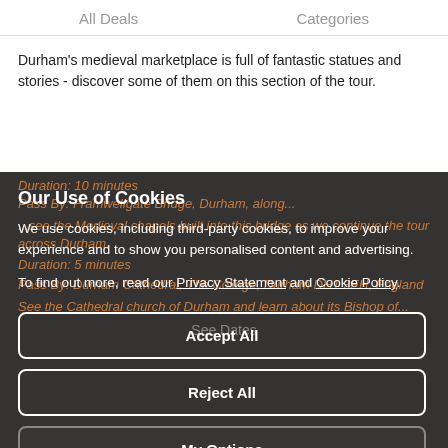All Deals    Categories
Durham's medieval marketplace is full of fantastic statues and stories - discover some of them on this section of the tour.
Duration: 10 minutes
Pass By: Framwellgate Bridge, Durham, along...
...see the Medieval chapels built into this bridge as we continue the tour across Durham.
Duration: 5 minutes
Pass By: Durham Cathedral, The College, Durham DH1 3EH, England
See the Cathedral church of Durham and learn about its Bishop of...
Our Use of Cookies
We use cookies, including third-party cookies, to improve your experience and to show you personalised content and advertising.
To find out more, read our Privacy Statement and Cookie Policy.
Accept All
Reject All
My Options